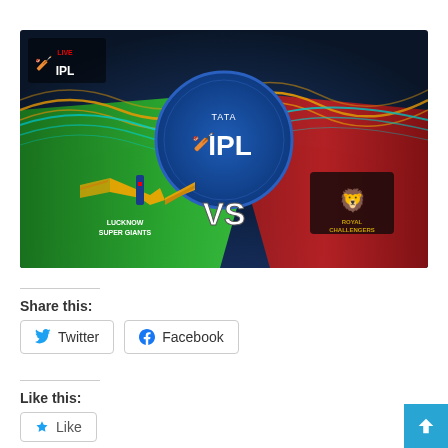[Figure (photo): IPL match graphic showing Lucknow Super Giants vs Royal Challengers Bangalore with TATA IPL logo in the center, Live IPL logo in top-left corner, green diagonal stripe on left side with LSG logo, red diagonal stripe on right side with RCB logo, 'VS' text in center, on a dark blue stadium background]
Share this:
Twitter
Facebook
Like this:
Like